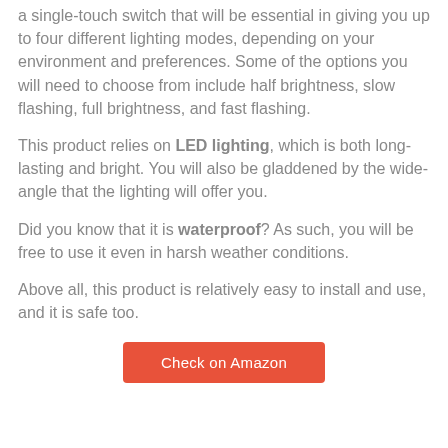a single-touch switch that will be essential in giving you up to four different lighting modes, depending on your environment and preferences. Some of the options you will need to choose from include half brightness, slow flashing, full brightness, and fast flashing.
This product relies on LED lighting, which is both long-lasting and bright. You will also be gladdened by the wide-angle that the lighting will offer you.
Did you know that it is waterproof? As such, you will be free to use it even in harsh weather conditions.
Above all, this product is relatively easy to install and use, and it is safe too.
[Figure (other): Orange/red button labeled 'Check on Amazon']